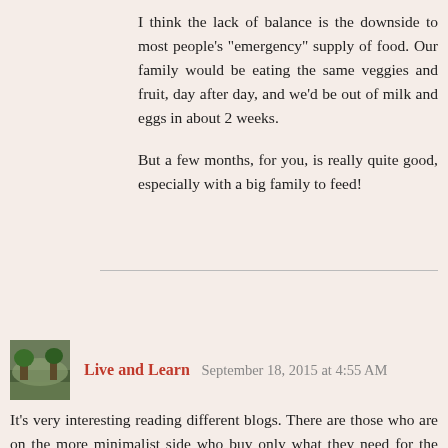I think the lack of balance is the downside to most people's "emergency" supply of food. Our family would be eating the same veggies and fruit, day after day, and we'd be out of milk and eggs in about 2 weeks.

But a few months, for you, is really quite good, especially with a big family to feed!
Reply
Live and Learn  September 18, 2015 at 4:55 AM
It's very interesting reading different blogs. There are those who are on the more minimalist side who buy only what they need for the week or what every time period they're shopping for. They find that they waste less food that way. Others have almost a year's food in stock.

Like most things, I'm in the middle. Just for the fun of it, the only thing I've bought food-wise in the last three weeks (not